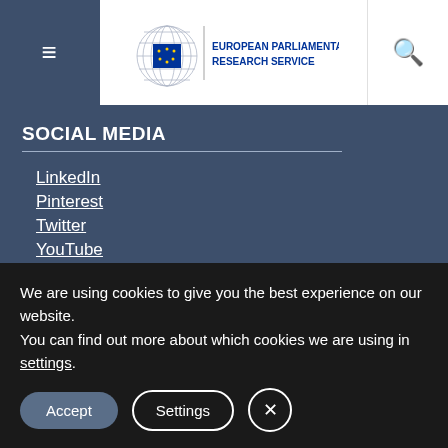European Parliamentary Research Service
SOCIAL MEDIA
LinkedIn
Pinterest
Twitter
YouTube
SUBSCRIBE TO BLOG VIA EMAIL
Enter your email address to subscribe to this blog and receive
We are using cookies to give you the best experience on our website.
You can find out more about which cookies we are using in settings.